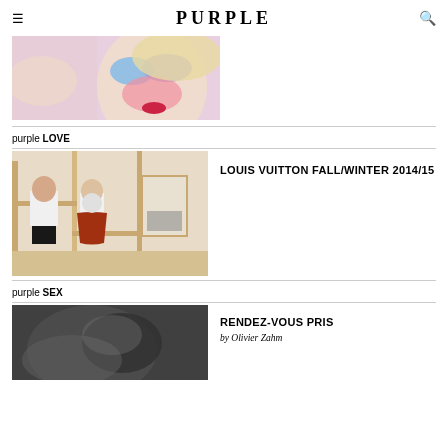PURPLE
[Figure (photo): Fashion/beauty photo showing a person with dramatic colorful makeup being kissed on the cheek]
purple LOVE
[Figure (photo): Fashion editorial photo showing two people in a room with wood framing and artworks, one in white shirt and black shorts, one in rust-colored skirt]
LOUIS VUITTON FALL/WINTER 2014/15
purple SEX
[Figure (photo): Dark moody editorial photo, partially visible]
RENDEZ-VOUS PRIS
by Olivier Zahm